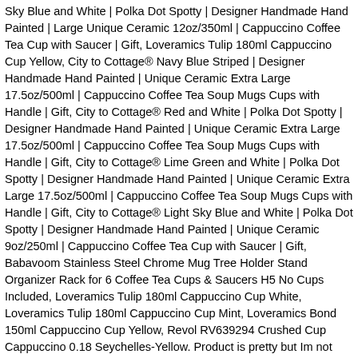Sky Blue and White | Polka Dot Spotty | Designer Handmade Hand Painted | Large Unique Ceramic 12oz/350ml | Cappuccino Coffee Tea Cup with Saucer | Gift, Loveramics Tulip 180ml Cappuccino Cup Yellow, City to Cottage® Navy Blue Striped | Designer Handmade Hand Painted | Unique Ceramic Extra Large 17.5oz/500ml | Cappuccino Coffee Tea Soup Mugs Cups with Handle | Gift, City to Cottage® Red and White | Polka Dot Spotty | Designer Handmade Hand Painted | Unique Ceramic Extra Large 17.5oz/500ml | Cappuccino Coffee Tea Soup Mugs Cups with Handle | Gift, City to Cottage® Lime Green and White | Polka Dot Spotty | Designer Handmade Hand Painted | Unique Ceramic Extra Large 17.5oz/500ml | Cappuccino Coffee Tea Soup Mugs Cups with Handle | Gift, City to Cottage® Light Sky Blue and White | Polka Dot Spotty | Designer Handmade Hand Painted | Unique Ceramic 9oz/250ml | Cappuccino Coffee Tea Cup with Saucer | Gift, Babavoom Stainless Steel Chrome Mug Tree Holder Stand Organizer Rack for 6 Coffee Tea Cups & Saucers H5 No Cups Included, Loveramics Tulip 180ml Cappuccino Cup White, Loveramics Tulip 180ml Cappuccino Cup Mint, Loveramics Bond 150ml Cappuccino Cup Yellow, Revol RV639294 Crushed Cup Cappuccino 0.18 Seychelles-Yellow. Product is pretty but Im not happy with the size. 5 out of 5 stars (47) 47 reviews $ 26.00 FREE ... Cappuccino cups are generally sized between 6-7 oz. Cappuccino cup size. A 6 oz cup size is ideal for enjoying cappuccinos. Sweese 406.401 Porcelain Stackable Cappuccino Cups with Saucers and Metal Stand, 8 Ounce for Specialty Coffee Drinks, Cappuccino, Latte...